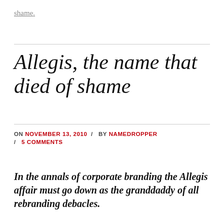shame.
Allegis, the name that died of shame
ON NOVEMBER 13, 2010 / BY NAMEDROPPER / 5 COMMENTS
In the annals of corporate branding the Allegis affair must go down as the granddaddy of all rebranding debacles.